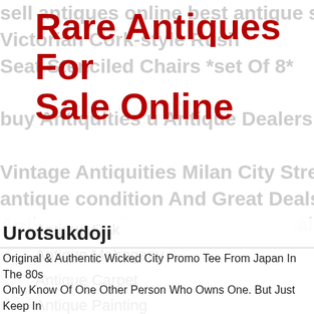Rare Antiques For Sale Online
Antique Oak
Antique Mahogany
Antique Carpet
Antique Painting
Antique Glass
Antique Plate
Urotsukdoji
Original & Authentic Wicked City Promo Tee From Japan In The 80s Only Know Of One Other Person Who Owns One. But Just Keep In